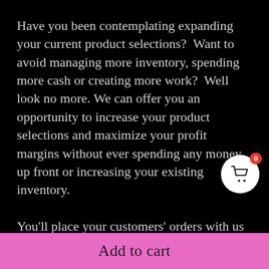Have you been contemplating expanding your current product selections?  Want to avoid managing more inventory, spending more cash or creating more work?  Well look no more. We can offer you an opportunity to increase your product selections and maximize your profit margins without ever spending any money up front or increasing your existing inventory.

You'll place your customers' orders with us on our website and we'll ship beautiful products of the highest quality to the address provided. We'll send you and your customer a tracking number once your product
Add to cart